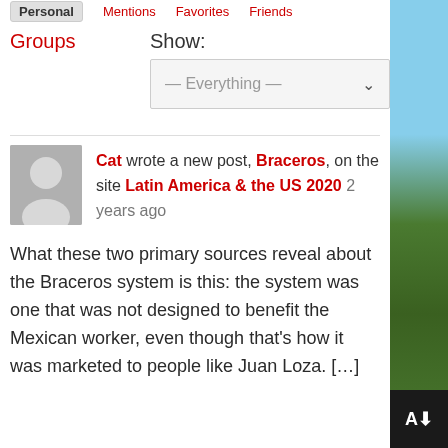Personal  Mentions  Favorites  Friends
Groups
Show:
— Everything —
Cat wrote a new post, Braceros, on the site Latin America & the US 2020 2 years ago
What these two primary sources reveal about the Braceros system is this: the system was one that was not designed to benefit the Mexican worker, even though that's how it was marketed to people like Juan Loza. […]